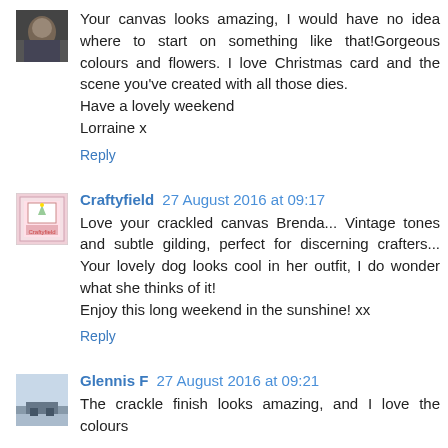Your canvas looks amazing, I would have no idea where to start on something like that!Gorgeous colours and flowers. I love Christmas card and the scene you've created with all those dies.
Have a lovely weekend
Lorraine x
Reply
Craftyfield 27 August 2016 at 09:17
Love your crackled canvas Brenda... Vintage tones and subtle gilding, perfect for discerning crafters... Your lovely dog looks cool in her outfit, I do wonder what she thinks of it!
Enjoy this long weekend in the sunshine! xx
Reply
Glennis F 27 August 2016 at 09:21
The crackle finish looks amazing, and I love the colours